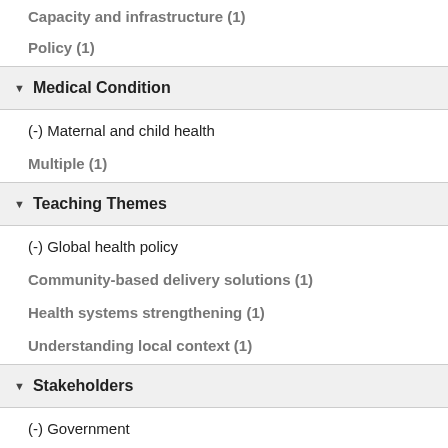Capacity and infrastructure (1)
Policy (1)
Medical Condition
(-) Maternal and child health
Multiple (1)
Teaching Themes
(-) Global health policy
Community-based delivery solutions (1)
Health systems strengthening (1)
Understanding local context (1)
Stakeholders
(-) Government